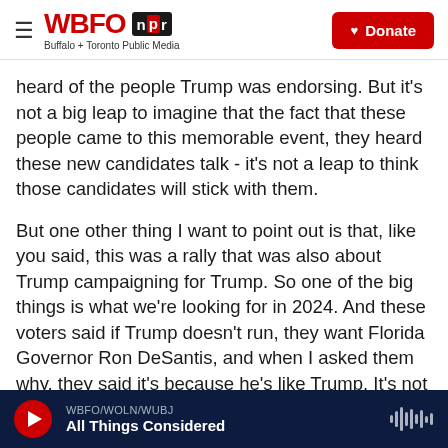WBFO NPR — Buffalo + Toronto Public Media | Donate
heard of the people Trump was endorsing. But it's not a big leap to imagine that the fact that these people came to this memorable event, they heard these new candidates talk - it's not a leap to think those candidates will stick with them.
But one other thing I want to point out is that, like you said, this was a rally that was also about Trump campaigning for Trump. So one of the big things is what we're looking for in 2024. And these voters said if Trump doesn't run, they want Florida Governor Ron DeSantis, and when I asked them why, they said it's because he's like Trump. It's not
WBFO/WOLN/WUBJ | All Things Considered